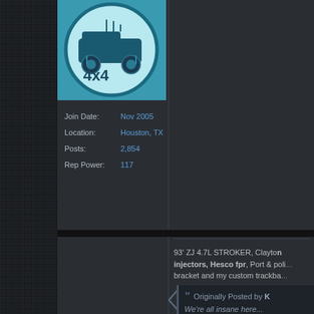[Figure (illustration): 4x4 off-road vehicle logo/avatar in teal and white circular design]
Join Date: Nov 2005
Location: Houston, TX
Posts: 2,854
Rep Power: 117
93' ZJ 4.7L STROKER, Clayton injectors, Hesco fpr, Port & poli... bracket and my custom trackba...
Originally Posted by K
We're all insane here...
Re: rear UCA mounts ripped of frame, what to do now? W/pics
Sudz
Senior Member
03-14-2021, 06:16 PM
Originally Posted by W...